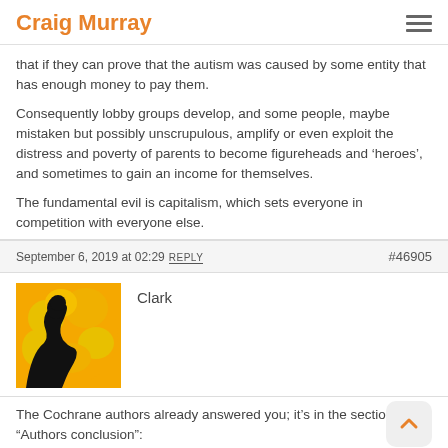Craig Murray
that if they can prove that the autism was caused by some entity that has enough money to pay them.
Consequently lobby groups develop, and some people, maybe mistaken but possibly unscrupulous, amplify or even exploit the distress and poverty of parents to become figureheads and ‘heroes’, and sometimes to gain an income for themselves.
The fundamental evil is capitalism, which sets everyone in competition with everyone else.
September 6, 2019 at 02:29 REPLY #46905
Clark
The Cochrane authors already answered you; it’s in the section “Authors conclusion”: